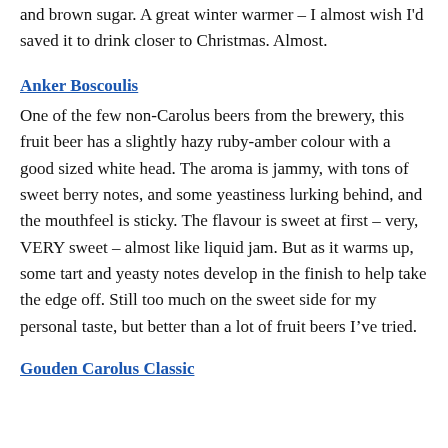and brown sugar. A great winter warmer – I almost wish I'd saved it to drink closer to Christmas. Almost.
Anker Boscoulis
One of the few non-Carolus beers from the brewery, this fruit beer has a slightly hazy ruby-amber colour with a good sized white head. The aroma is jammy, with tons of sweet berry notes, and some yeastiness lurking behind, and the mouthfeel is sticky. The flavour is sweet at first – very, VERY sweet – almost like liquid jam. But as it warms up, some tart and yeasty notes develop in the finish to help take the edge off. Still too much on the sweet side for my personal taste, but better than a lot of fruit beers I've tried.
Gouden Carolus Classic